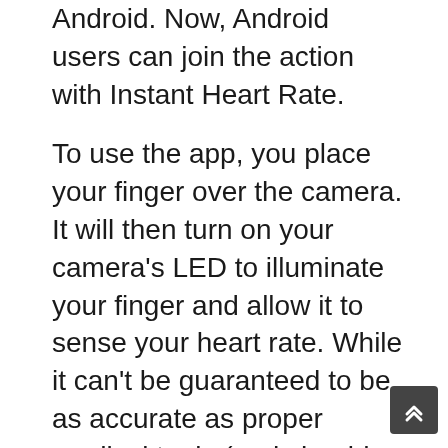Android. Now, Android users can join the action with Instant Heart Rate.
To use the app, you place your finger over the camera. It will then turn on your camera’s LED to illuminate your finger and allow it to sense your heart rate. While it can’t be guaranteed to be as accurate as proper medical tools (and should not be used as such), it can do a down and dirty job to get you in the ballpark.
Instant Heart Beat measure
Now you have a chance to track your fitness and health every-time with just